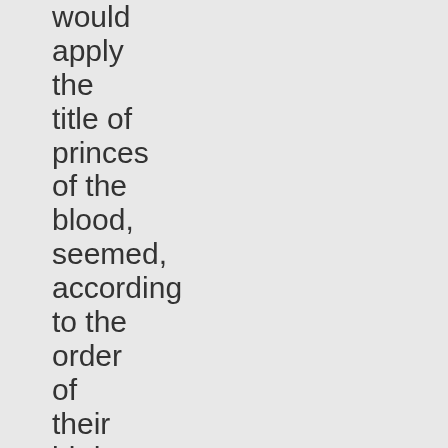would apply the title of princes of the blood, seemed, according to the order of their birth, to be destined either to inherit or to support the throne of Constantine. But in less than thirty years, this numerous and